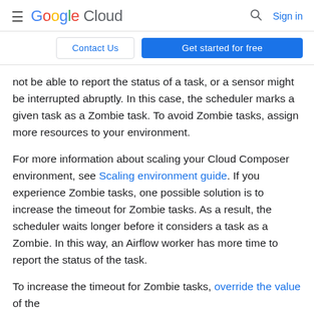Google Cloud | Sign in
Contact Us | Get started for free
not be able to report the status of a task, or a sensor might be interrupted abruptly. In this case, the scheduler marks a given task as a Zombie task. To avoid Zombie tasks, assign more resources to your environment.
For more information about scaling your Cloud Composer environment, see Scaling environment guide. If you experience Zombie tasks, one possible solution is to increase the timeout for Zombie tasks. As a result, the scheduler waits longer before it considers a task as a Zombie. In this way, an Airflow worker has more time to report the status of the task.
To increase the timeout for Zombie tasks, override the value of the